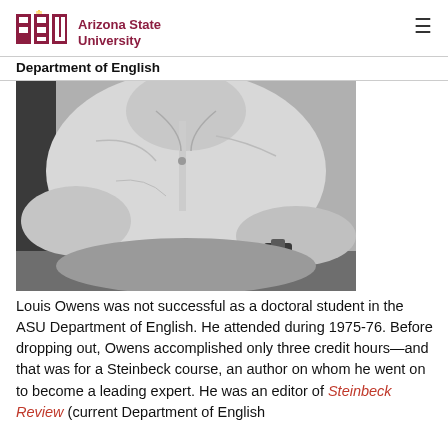ASU Arizona State University
Department of English
[Figure (photo): Black and white close-up photograph of a man in a button-up shirt with a watch on his wrist, arms crossed or resting on a surface.]
Louis Owens was not successful as a doctoral student in the ASU Department of English. He attended during 1975-76. Before dropping out, Owens accomplished only three credit hours—and that was for a Steinbeck course, an author on whom he went on to become a leading expert. He was an editor of Steinbeck Review (current Department of English